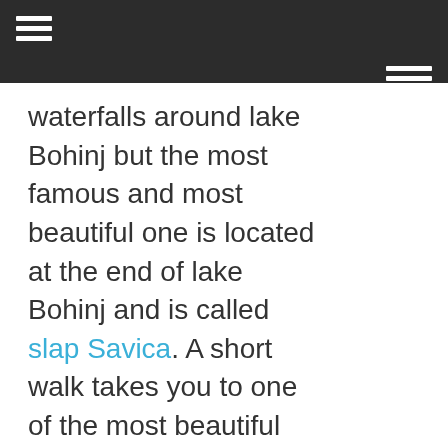[navigation bar with hamburger menus]
waterfalls around lake Bohinj but the most famous and most beautiful one is located at the end of lake Bohinj and is called slap Savica. A short walk takes you to one of the most beautiful waterfalls in Slovenia.